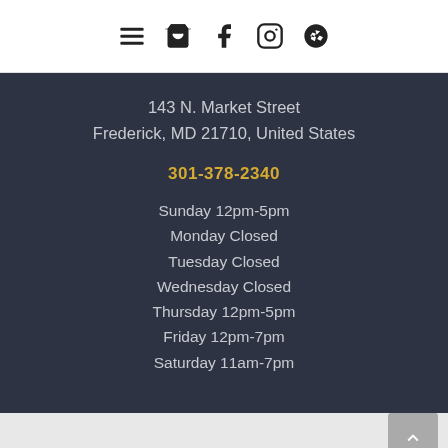[Navigation bar with menu, cart, Facebook, Instagram, Yelp icons]
143 N. Market Street
Frederick, MD 21710, United States
301-378-2340
Sunday 12pm-5pm
Monday Closed
Tuesday Closed
Wednesday Closed
Thursday 12pm-5pm
Friday 12pm-7pm
Saturday 11am-7pm
[Footer with scroll-to-top button]